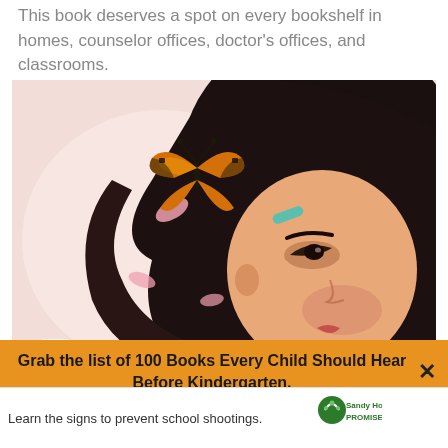This book deserves a spot on every bookshelf in homes, counselor offices, doctor's offices, and classrooms.
[Figure (illustration): Book cover illustration showing an animated girl with long dark hair, a teal hair clip, looking at a monarch butterfly. Pink petals float in the air. The title 'Eyes' is visible in white text at the bottom of the illustration.]
Grab the list of 100 Books Every Child Should Hear Before Kindergarten.
Learn the signs to prevent school shootings.